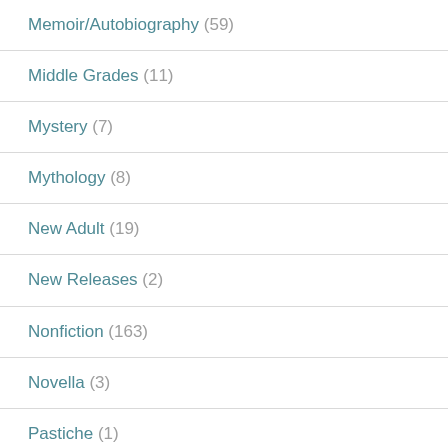Memoir/Autobiography (59)
Middle Grades (11)
Mystery (7)
Mythology (8)
New Adult (19)
New Releases (2)
Nonfiction (163)
Novella (3)
Pastiche (1)